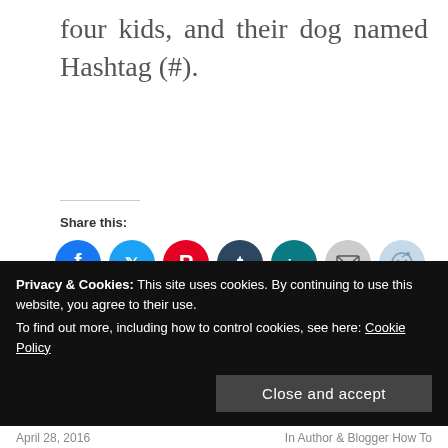four kids, and their dog named Hashtag (#).
Share this:
[Figure (other): Social media share buttons: Facebook (blue), Twitter (blue), Pinterest (red), Tumblr (dark blue), LinkedIn (teal), Email (light gray), Reddit (light blue)]
Loading...
Privacy & Cookies: This site uses cookies. By continuing to use this website, you agree to their use.
To find out more, including how to control cookies, see here: Cookie Policy
Close and accept
April 28, 2016    In  Author & Blogger How To